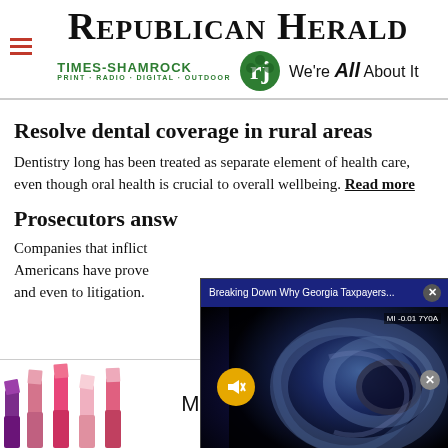REPUBLICAN HERALD | TIMES-SHAMROCK · PRINT · RADIO · DIGITAL · OUTDOOR · We're All About It
Resolve dental coverage in rural areas
Dentistry long has been treated as separate element of health care, even though oral health is crucial to overall wellbeing. Read more
Prosecutors answ...
Companies that inflict... Americans have prove... and even to litigation.
[Figure (screenshot): Video popup overlay with title 'Breaking Down Why Georgia Taxpayers...' and ultrasound imagery with mute button and close button]
[Figure (photo): MAC cosmetics advertisement with lipsticks and SHOP NOW button]